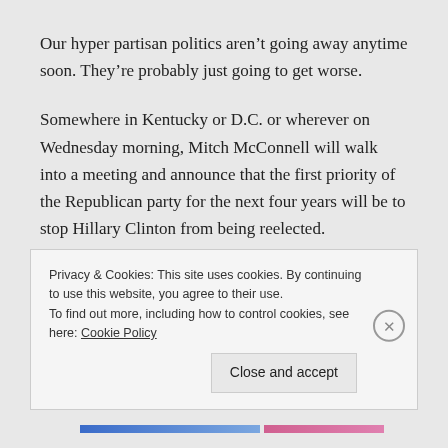Our hyper partisan politics aren't going away anytime soon. They're probably just going to get worse.
Somewhere in Kentucky or D.C. or wherever on Wednesday morning, Mitch McConnell will walk into a meeting and announce that the first priority of the Republican party for the next four years will be to stop Hillary Clinton from being reelected.
At some point, “Democrats and Republicans disagree on how much money to spend on different parts of
Privacy & Cookies: This site uses cookies. By continuing to use this website, you agree to their use.
To find out more, including how to control cookies, see here: Cookie Policy
Close and accept